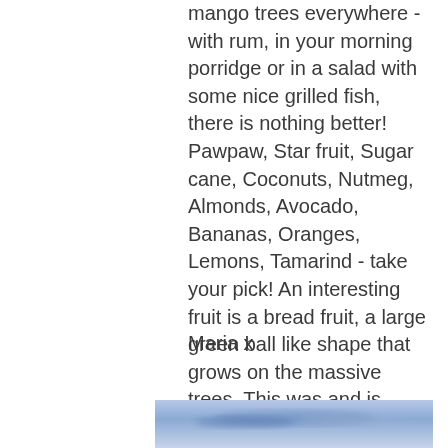mango trees everywhere - with rum, in your morning porridge or in a salad with some nice grilled fish, there is nothing better! Pawpaw, Star fruit, Sugar cane, Coconuts, Nutmeg, Almonds, Avocado, Bananas, Oranges, Lemons, Tamarind - take your pick! An interesting fruit is a bread fruit, a large green ball like shape that grows on the massive trees. This was and is used as a substitute to wheat as that does not grow here. I attach a few photos below.
Maria x
[Figure (photo): Partial photo visible at the bottom of the page, showing a blue/purple hazy image, possibly a landscape or sky.]